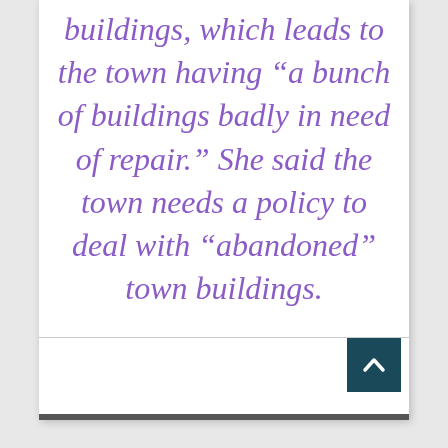buildings, which leads to the town having “a bunch of buildings badly in need of repair.” She said the town needs a policy to deal with “abandoned” town buildings.